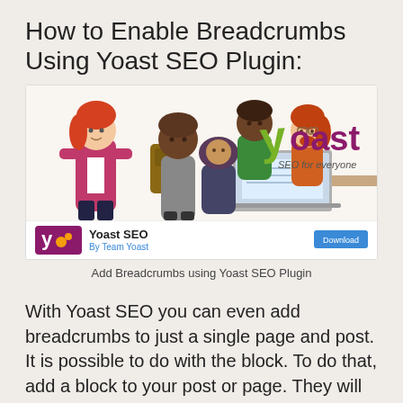How to Enable Breadcrumbs Using Yoast SEO Plugin:
[Figure (screenshot): Screenshot of Yoast SEO plugin page showing illustrated characters around a laptop and the Yoast logo with 'SEO for everyone' tagline, plus plugin listing with Download button]
Add Breadcrumbs using Yoast SEO Plugin
With Yoast SEO you can even add breadcrumbs to just a single page and post. It is possible to do with the block. To do that, add a block to your post or page. They will also appear on the